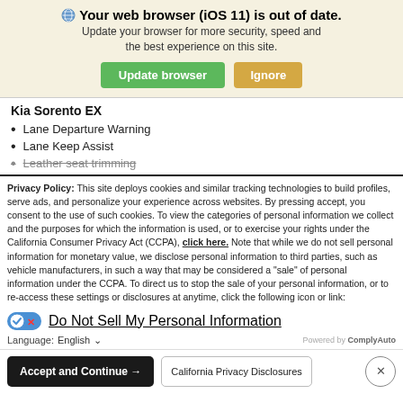Your web browser (iOS 11) is out of date. Update your browser for more security, speed and the best experience on this site.
Kia Sorento EX
Lane Departure Warning
Lane Keep Assist
Leather seat trimming
Privacy Policy: This site deploys cookies and similar tracking technologies to build profiles, serve ads, and personalize your experience across websites. By pressing accept, you consent to the use of such cookies. To view the categories of personal information we collect and the purposes for which the information is used, or to exercise your rights under the California Consumer Privacy Act (CCPA), click here. Note that while we do not sell personal information for monetary value, we disclose personal information to third parties, such as vehicle manufacturers, in such a way that may be considered a "sale" of personal information under the CCPA. To direct us to stop the sale of your personal information, or to re-access these settings or disclosures at anytime, click the following icon or link:
Do Not Sell My Personal Information
Language: English  Powered by ComplyAuto
Accept and Continue →  California Privacy Disclosures